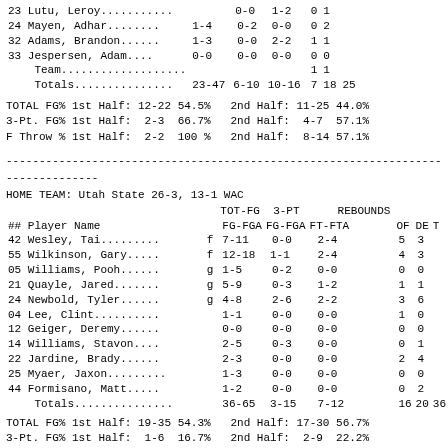| ## | Player Name | TOT-FG | 3-PT | FT-FTA | OF | DE | T |
| --- | --- | --- | --- | --- | --- | --- | --- |
| 23 | Lutu, Leroy......... |  | 0-0 | 1-2 | 0 | 1 |  |
| 24 | Mayen, Adhar........ | 1-4 | 0-2 | 0-0 | 0 | 2 |  |
| 32 | Adams, Brandon...... | 1-3 | 0-0 | 2-2 | 1 | 1 |  |
| 33 | Jespersen, Adam..... | 0-0 | 0-0 | 0-0 | 0 | 0 |  |
|  | Team................ |  |  |  | 1 | 1 |  |
|  | Totals............... | 23-47 | 6-10 | 10-16 | 7 | 18 | 25 |
TOTAL FG% 1st Half: 12-22 54.5%   2nd Half: 11-25 44.0%
3-Pt. FG% 1st Half:  2-3  66.7%   2nd Half:  4-7  57.1%
F Throw % 1st Half:  2-2  100 %   2nd Half:  8-14 57.1%
HOME TEAM: Utah State 26-3, 13-1 WAC
| ## | Player Name |  | TOT-FG FG-FGA | 3-PT FG-FGA | FT-FTA | OF | DE | T |
| --- | --- | --- | --- | --- | --- | --- | --- | --- |
| 42 | Wesley, Tai.......... | f | 7-11 | 0-0 | 2-4 | 5 | 3 |  |
| 55 | Wilkinson, Gary...... | f | 12-18 | 1-1 | 2-4 | 4 | 3 |  |
| 05 | Williams, Pooh....... | g | 1-5 | 0-2 | 0-0 | 0 | 0 |  |
| 21 | Quayle, Jared........ | g | 5-9 | 0-3 | 1-2 | 1 | 1 |  |
| 24 | Newbold, Tyler....... | g | 4-8 | 2-6 | 2-2 | 3 | 6 |  |
| 04 | Lee, Clint........... |  | 1-1 | 0-0 | 0-0 | 1 | 0 |  |
| 12 | Geiger, Deremy....... |  | 0-0 | 0-0 | 0-0 | 0 | 0 |  |
| 14 | Williams, Stavon.... |  | 2-5 | 0-3 | 0-0 | 0 | 1 |  |
| 22 | Jardine, Brady....... |  | 2-3 | 0-0 | 0-0 | 2 | 4 |  |
| 25 | Myaer, Jaxon......... |  | 1-3 | 0-0 | 0-0 | 0 | 0 |  |
| 44 | Formisano, Matt...... |  | 1-2 | 0-0 | 0-0 | 0 | 2 |  |
|  | Totals............... |  | 36-65 | 3-15 | 7-12 | 16 | 20 | 36 |
TOTAL FG% 1st Half: 19-35 54.3%   2nd Half: 17-30 56.7%
3-Pt. FG% 1st Half:  1-6  16.7%   2nd Half:  2-9  22.2%